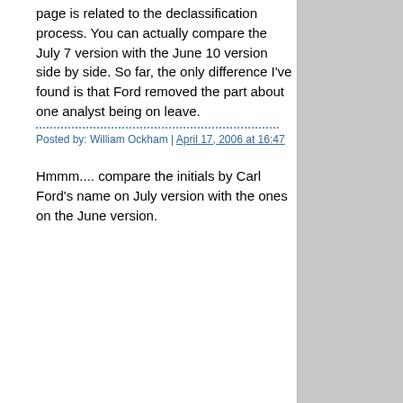page is related to the declassification process. You can actually compare the July 7 version with the June 10 version side by side. So far, the only difference I've found is that Ford removed the part about one analyst being on leave.
Posted by: William Ockham | April 17, 2006 at 16:47
Hmmm.... compare the initials by Carl Ford's name on July version with the ones on the June version.